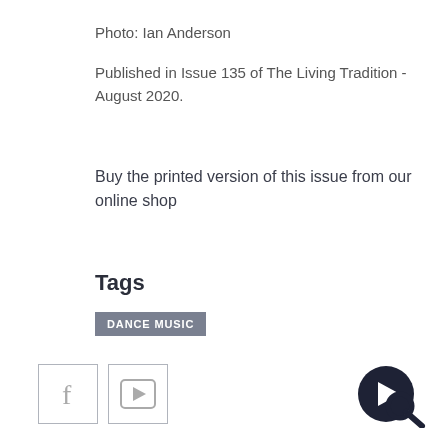Photo: Ian Anderson
Published in Issue 135 of The Living Tradition - August 2020.
Buy the printed version of this issue from our online shop
Tags
DANCE MUSIC
[Figure (logo): Facebook icon in a rounded square border]
[Figure (logo): Vimeo icon in a rounded square border]
[Figure (logo): Dark circular logo with triangle/play button and magnifying glass]